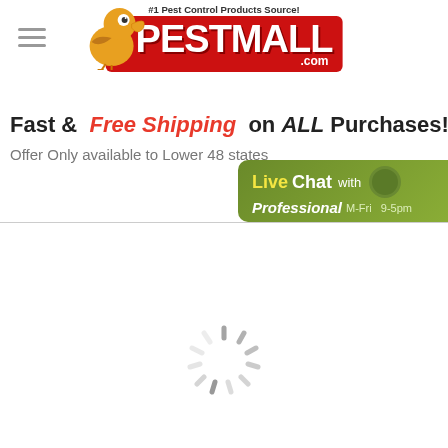[Figure (logo): PestMall.com logo with cartoon bird mascot and red background, '#1 Pest Control Products Source!' badge above]
Fast & Free Shipping on ALL Purchases!
Offer Only available to Lower 48 states
[Figure (infographic): Live Chat with Professional M-Fri 9-5pm button in green with yellow/white text]
[Figure (other): Loading spinner (circular progress indicator)]